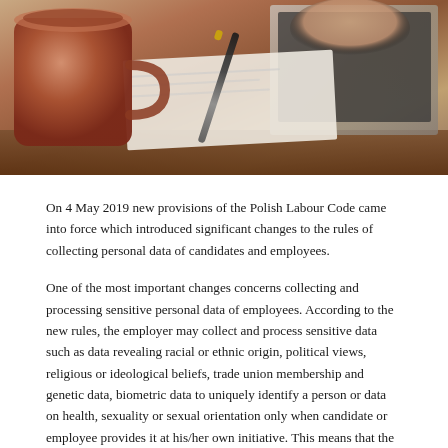[Figure (photo): Photograph of a desk scene with a terracotta mug, papers, a pen, and a laptop with a person's hand visible]
On 4 May 2019 new provisions of the Polish Labour Code came into force which introduced significant changes to the rules of collecting personal data of candidates and employees.
One of the most important changes concerns collecting and processing sensitive personal data of employees. According to the new rules, the employer may collect and process sensitive data such as data revealing racial or ethnic origin, political views, religious or ideological beliefs, trade union membership and genetic data, biometric data to uniquely identify a person or data on health, sexuality or sexual orientation only when candidate or employee provides it at his/her own initiative. This means that the employer cannot collect such data during recruitment process for example by asking a candidate questions regarding them.